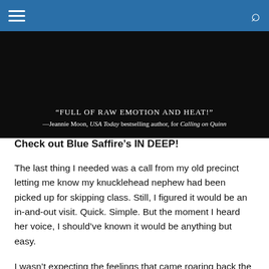[Figure (photo): Book cover image with dark background showing a quote: "FULL OF RAW EMOTION AND HEAT!" —Jeannie Moon, USA Today bestselling author, for Calling on Quinn]
Check out Blue Saffire's IN DEEP!
The last thing I needed was a call from my old precinct letting me know my knucklehead nephew had been picked up for skipping class. Still, I figured it would be an in-and-out visit. Quick. Simple. But the moment I heard her voice, I should've known it would be anything but easy.
I wasn't expecting the feelings that came roaring back the moment I laid eyes on the saucy detective with the